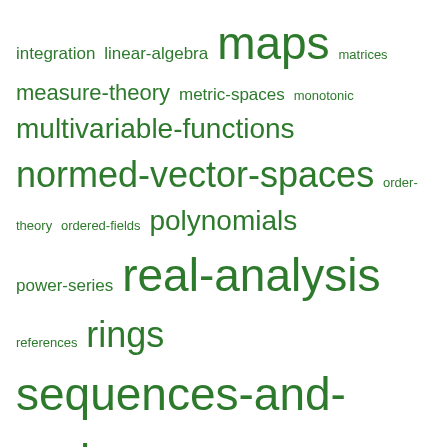[Figure (infographic): Tag cloud with math topics in green, varying font sizes indicating frequency/importance. Tags include: integration, linear-algebra, maps, matrices, measure-theory, metric-spaces, monotonic, multivariable-functions, normed-vector-spaces, order-theory, ordered-fields, polynomials, power-series, real-analysis, references, rings, sequences-and-series, set-theory, subgroups, topology, vector-spaces]
LINK
Would you like to be the contributor for the 100th ring on the Database of Ring Theory? Go here!
JULY 7, 2018 | JEAN-PIERRE MERX | LEAVE A COMMENT
You want to find rings having some properties but not having other properties? Go there: Database of Ring Theory! A great repository of rings, their properties, and more ring theory stuff.